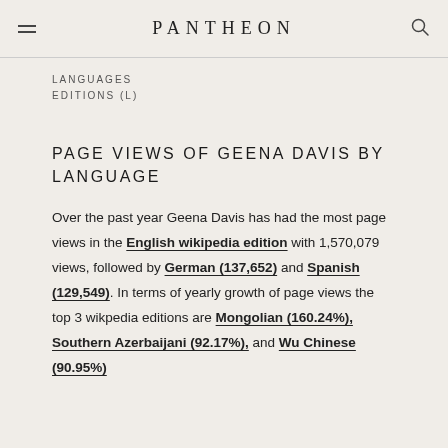PANTHEON
LANGUAGES
EDITIONS (L)
PAGE VIEWS OF GEENA DAVIS BY LANGUAGE
Over the past year Geena Davis has had the most page views in the English wikipedia edition with 1,570,079 views, followed by German (137,652) and Spanish (129,549). In terms of yearly growth of page views the top 3 wikpedia editions are Mongolian (160.24%), Southern Azerbaijani (92.17%), and Wu Chinese (90.95%)